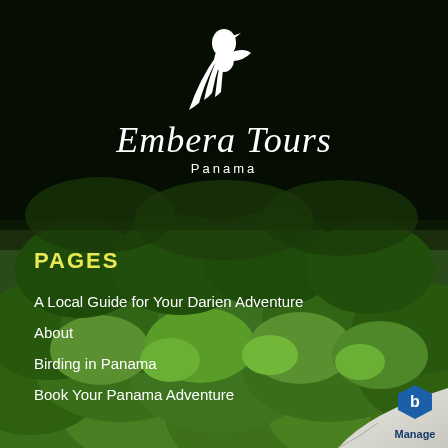[Figure (photo): Aerial view of dense tropical rainforest canopy with dark overlay on top half, serving as background for Embera Tours Panama cover page]
Embera Tours Panama
PAGES
A Local Guide for Your Darien Adventure
About
Birding in Panama
Book Your Panama Adventure